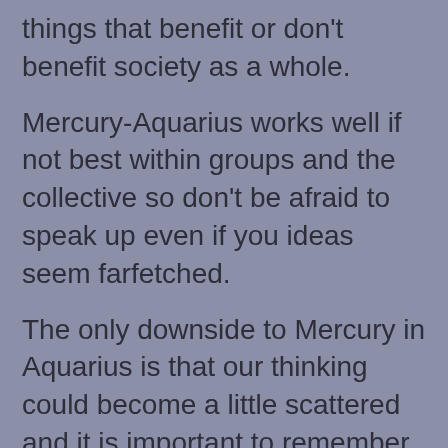things that benefit or don't benefit society as a whole.
Mercury-Aquarius works well if not best within groups and the collective so don't be afraid to speak up even if you ideas seem farfetched.
The only downside to Mercury in Aquarius is that our thinking could become a little scattered and it is important to remember that we will be speaking and communicating from a logical standpoint so we need to include the human element in our conversations. Now is the time to give your ideas room to fly and see where they land as Aquarius is bold, different and typically focused on things that serve humanity.
While Mercury is retrograde we can expect